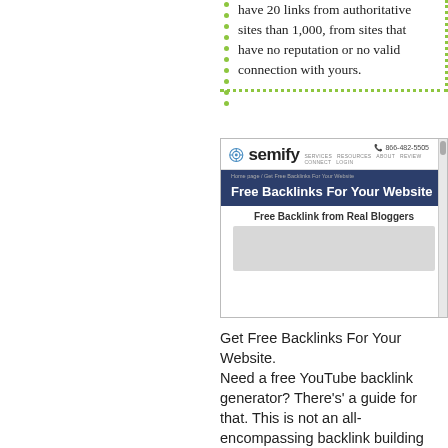have 20 links from authoritative sites than 1,000, from sites that have no reputation or no valid connection with yours.
[Figure (screenshot): Screenshot of Semify website showing 'Free Backlinks For Your Website' page with logo, phone number 866-482-5505, navigation bar, banner heading, and 'Free Backlink from Real Bloggers' caption with a gray content area below.]
Get Free Backlinks For Your Website. Need a free YouTube backlink generator? There's' a guide for that. This is not an all-encompassing backlink building guide. Campuses here is how to get a high-quality link for free in 2019. In other words, consider this a free backlink builder tool to help to get started. First, the b...